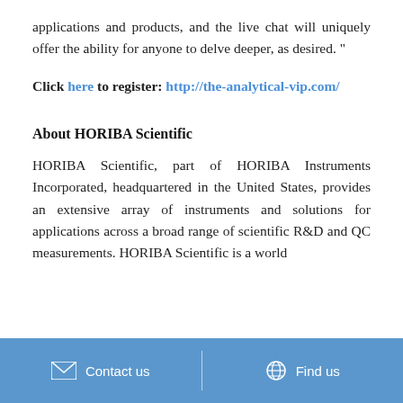applications and products, and the live chat will uniquely offer the ability for anyone to delve deeper, as desired. "
Click here to register: http://the-analytical-vip.com/
About HORIBA Scientific
HORIBA Scientific, part of HORIBA Instruments Incorporated, headquartered in the United States, provides an extensive array of instruments and solutions for applications across a broad range of scientific R&D and QC measurements. HORIBA Scientific is a world
Contact us   Find us